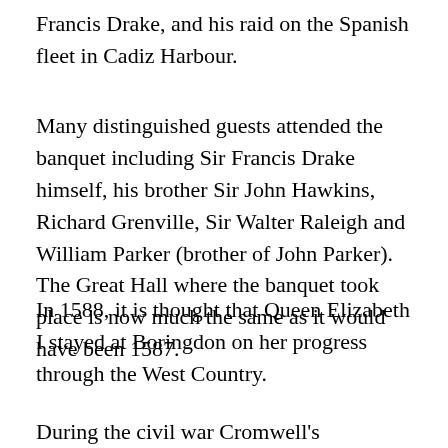Francis Drake, and his raid on the Spanish fleet in Cadiz Harbour.
Many distinguished guests attended the banquet including Sir Francis Drake himself, his brother Sir John Hawkins, Richard Grenville, Sir Walter Raleigh and William Parker (brother of John Parker). The Great Hall where the banquet took place is now much the same as it would have been 1587.
In 1588, it is thought that Queen Elizabeth I stayed at Boringdon on her progress through the West Country.
During the civil war Cromwell's